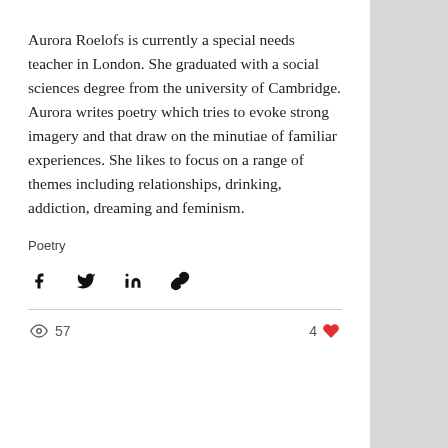Aurora Roelofs is currently a special needs teacher in London. She graduated with a social sciences degree from the university of Cambridge. Aurora writes poetry which tries to evoke strong imagery and that draw on the minutiae of familiar experiences. She likes to focus on a range of themes including relationships, drinking, addiction, dreaming and feminism.
Poetry
[Figure (infographic): Social share icons: Facebook, Twitter, LinkedIn, and link/copy icon]
57 views, 4 likes